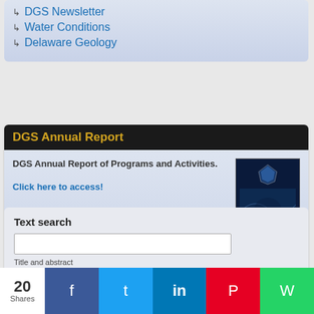DGS Newsletter
Water Conditions
Delaware Geology
DGS Annual Report
DGS Annual Report of Programs and Activities.
Click here to access!
[Figure (photo): Cover of DGS Annual Report of Programs and Activities showing aerial geology image]
Text search
Title and abstract
20 Shares